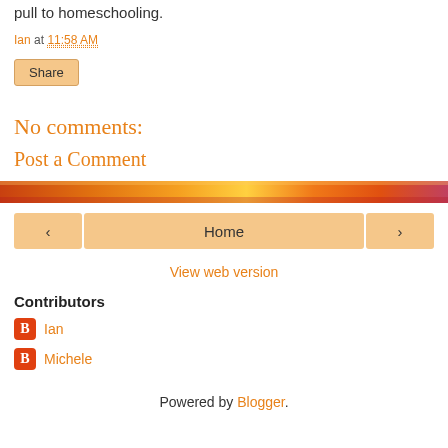pull to homeschooling.
Ian at 11:58 AM
Share
No comments:
Post a Comment
[Figure (illustration): Orange and yellow decorative banner strip]
< Home >
View web version
Contributors
Ian
Michele
Powered by Blogger.